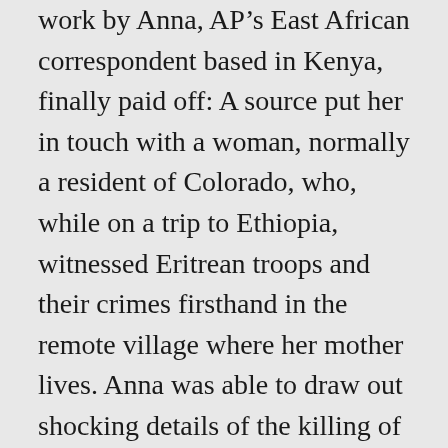work by Anna, AP's East African correspondent based in Kenya, finally paid off: A source put her in touch with a woman, normally a resident of Colorado, who, while on a trip to Ethiopia, witnessed Eritrean troops and their crimes firsthand in the remote village where her mother lives. Anna was able to draw out shocking details of the killing of children, mass graves and the looting of homes.The story, widely used by AP clients, was hailed as the first to document Eritrean activity in Tigray. Anna followed up with a second scoop in which the U.S. State Department called for all Eritrean forces to leave Tigray immediately, citing “credible reports” of